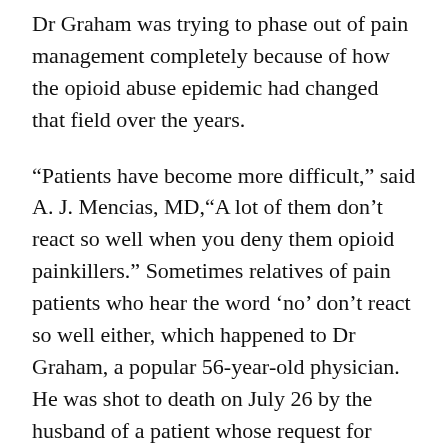Dr Graham was trying to phase out of pain management completely because of how the opioid abuse epidemic had changed that field over the years.
“Patients have become more difficult,” said A. J. Mencias, MD,“A lot of them don’t react so well when you deny them opioid painkillers.” Sometimes relatives of pain patients who hear the word ‘no’ don’t react so well either, which happened to Dr Graham, a popular 56‑year‑old physician. He was shot to death on July 26 by the husband of a patient whose request for opioid painkillers he denied earlier that day. The patient’s husband, Michael Jarvis, then took his own life.
Dr Graham’s murder highlights the risk for